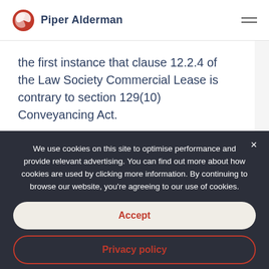Piper Alderman
the first instance that clause 12.2.4 of the Law Society Commercial Lease is contrary to section 129(10) Conveyancing Act.
Conclusion / Call to Action
Charlie Bridge Street Pty Ltd v Petrazzuolo
We use cookies on this site to optimise performance and provide relevant advertising. You can find out more about how cookies are used by clicking more information. By continuing to browse our website, you’re agreeing to our use of cookies.
Accept
Privacy policy